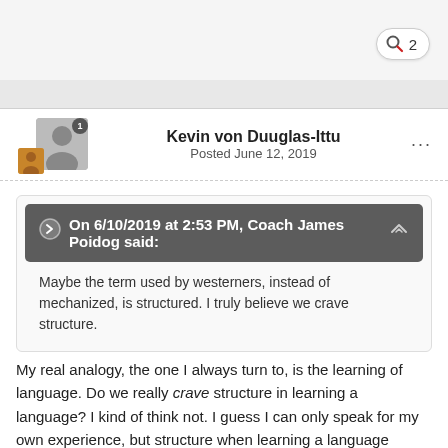[Figure (screenshot): Page header bar with search icon and badge showing number 2]
Kevin von Duuglas-Ittu
Posted June 12, 2019
On 6/10/2019 at 2:53 PM, Coach James Poidog said:
Maybe the term used by westerners, instead of mechanized, is structured. I truly believe we crave structure.
My real analogy, the one I always turn to, is the learning of language. Do we really crave structure in learning a language? I kind of think not. I guess I can only speak for my own experience, but structure when learning a language always feels like something getting in the way. Just a bunch of stuff to be memorized, tested on